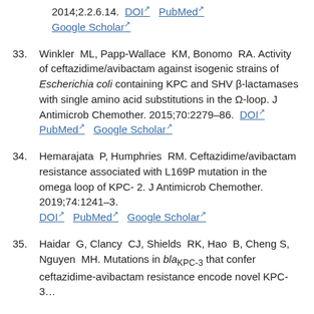2014;2.2.6.14. DOI PubMed Google Scholar
33. Winkler ML, Papp-Wallace KM, Bonomo RA. Activity of ceftazidime/avibactam against isogenic strains of Escherichia coli containing KPC and SHV β-lactamases with single amino acid substitutions in the Ω-loop. J Antimicrob Chemother. 2015;70:2279–86. DOI PubMed Google Scholar
34. Hemarajata P, Humphries RM. Ceftazidime/avibactam resistance associated with L169P mutation in the omega loop of KPC-2. J Antimicrob Chemother. 2019;74:1241–3. DOI PubMed Google Scholar
35. Haidar G, Clancy CJ, Shields RK, Hao B, Cheng S, Nguyen MH. Mutations in blaKPC-3 that confer ceftazidime-avibactam resistance encode novel KPC-3...